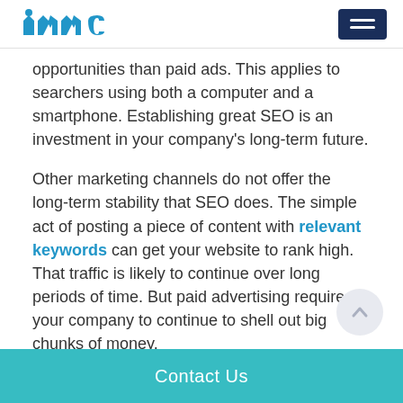immc [logo] [menu button]
opportunities than paid ads. This applies to searchers using both a computer and a smartphone. Establishing great SEO is an investment in your company’s long-term future.
Other marketing channels do not offer the long-term stability that SEO does. The simple act of posting a piece of content with relevant keywords can get your website to rank high. That traffic is likely to continue over long periods of time. But paid advertising requires your company to continue to shell out big chunks of money.
Contact Us